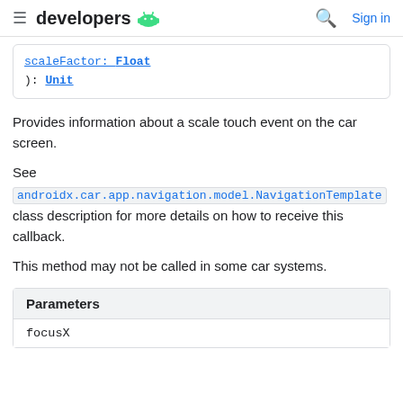developers [Android logo] | Search | Sign in
scaleFactor: Float
): Unit
Provides information about a scale touch event on the car screen.
See
androidx.car.app.navigation.model.NavigationTemplate class description for more details on how to receive this callback.
This method may not be called in some car systems.
| Parameters |
| --- |
| focusX |
focusX